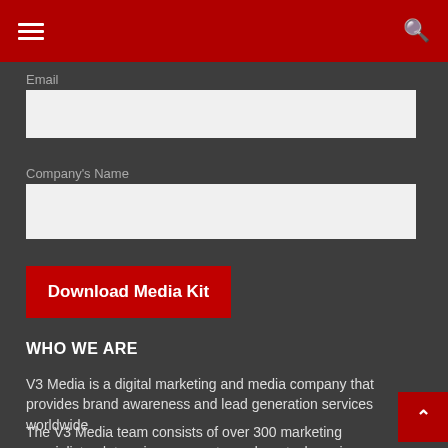Navigation bar with hamburger menu and search icon
Email
Company's Name
Download Media Kit
WHO WE ARE
V3 Media is a digital marketing and media company that provides brand awareness and lead generation services worldwide
The V3 Media team consists of over 300 marketing specialists, data science experts, and martech engineers that execute and orchestrate over 2,800 campaigns each year.